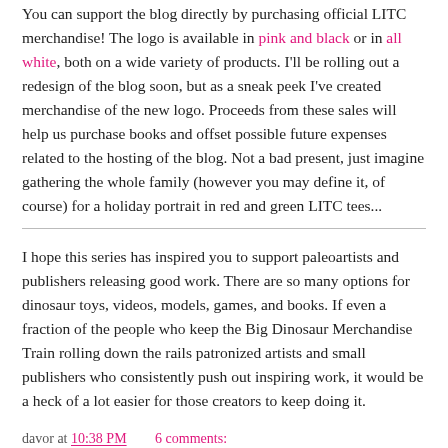You can support the blog directly by purchasing official LITC merchandise! The logo is available in pink and black or in all white, both on a wide variety of products. I'll be rolling out a redesign of the blog soon, but as a sneak peek I've created merchandise of the new logo. Proceeds from these sales will help us purchase books and offset possible future expenses related to the hosting of the blog. Not a bad present, just imagine gathering the whole family (however you may define it, of course) for a holiday portrait in red and green LITC tees...
I hope this series has inspired you to support paleoartists and publishers releasing good work. There are so many options for dinosaur toys, videos, models, games, and books. If even a fraction of the people who keep the Big Dinosaur Merchandise Train rolling down the rails patronized artists and small publishers who consistently push out inspiring work, it would be a heck of a lot easier for those creators to keep doing it.
davor at 10:38 PM  6 comments: